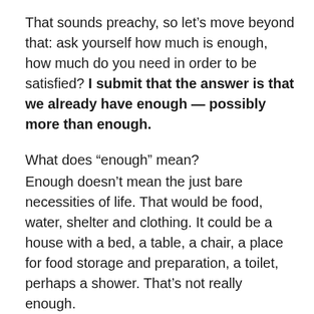That sounds preachy, so let's move beyond that: ask yourself how much is enough, how much do you need in order to be satisfied? I submit that the answer is that we already have enough — possibly more than enough.
What does “enough” mean?
Enough doesn’t mean the just bare necessities of life. That would be food, water, shelter and clothing. It could be a house with a bed, a table, a chair, a place for food storage and preparation, a toilet, perhaps a shower. That’s not really enough.
Enough means having enough to live, and enough to be happy, and enough to thrive. For me, as I get extreme happiness from writing and blogging, I would need a computer. Perhaps I could use the